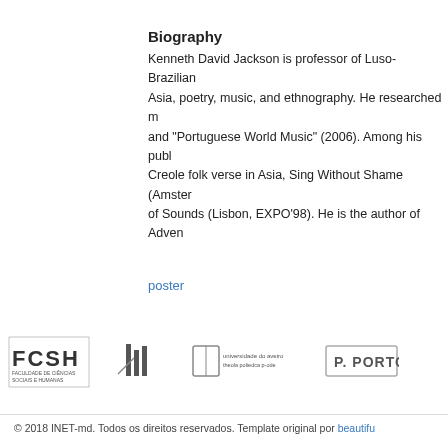Biography
Kenneth David Jackson is professor of Luso-Brazilian Asia, poetry, music, and ethnography. He researched m and "Portuguese World Music" (2006). Among his publ Creole folk verse in Asia, Sing Without Shame (Amster of Sounds (Lisbon, EXPO'98). He is the author of Adven
poster
[Figure (logo): FCSH logo - Faculdade de Ciências Sociais e Humanas]
[Figure (logo): IH logo]
[Figure (logo): Universidade do Aveiro - Escola poliedica p-ode logo]
[Figure (logo): P.PORTO logo]
© 2018 INET-md. Todos os direitos reservados. Template original por beautifu